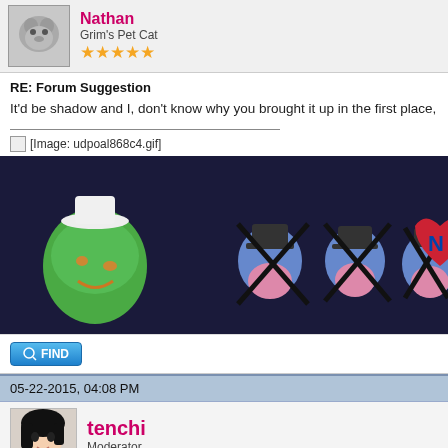[Figure (photo): User avatar for Nathan - grey cat photo]
Nathan
Grim's Pet Cat
★★★★★
RE: Forum Suggestion
It'd be shadow and I, don't know why you brought it up in the first place,
[Figure (illustration): Animated GIF image: udpoal868c4.gif - shows cartoon characters including a green blob with sailor hat and blue bird-like characters crossed out, and a red heart character, on dark blue background]
FIND
05-22-2015, 04:08 PM
[Figure (illustration): User avatar for tenchi - anime style character in purple jacket]
tenchi
Moderator
★★★★★
RE: Forum Suggestion
I'm actually against this as well. For as many people as get mentioned in
"spam" messages saying we've been tagged.